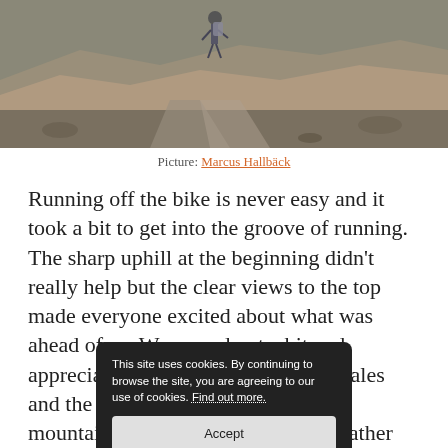[Figure (photo): Trail runner hiking up a rocky mountain path with barren hills and valleys in the background]
Picture: Marcus Hallbäck
Running off the bike is never easy and it took a bit to get into the groove of running. The sharp uphill at the beginning didn't really help but the clear views to the top made everyone excited about what was ahead of us. We spread out a bit and appreciated the incredible views...vales and the mountains. A...ed us up the mountain and took...ky enough the weather was on our side as the sun was not
This site uses cookies. By continuing to browse the site, you are agreeing to our use of cookies. Find out more. [Accept]